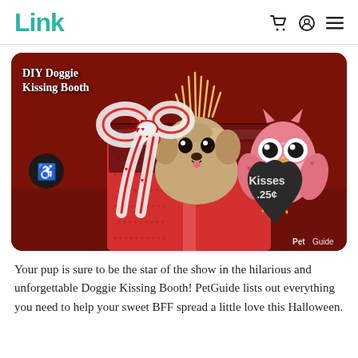Link
[Figure (photo): A small fluffy dog (Shih Tzu) sitting inside a red Valentine's Day gift box decorated with a red and white polka-dot bow. An owl decoration holding a chalkboard sign reading 'Kisses .25¢' is visible on the right. Text overlay reads 'DIY Doggie Kissing Booth'. PetGuide watermark in bottom right.]
Your pup is sure to be the star of the show in the hilarious and unforgettable Doggie Kissing Booth! PetGuide lists out everything you need to help your sweet BFF spread a little love this Halloween.